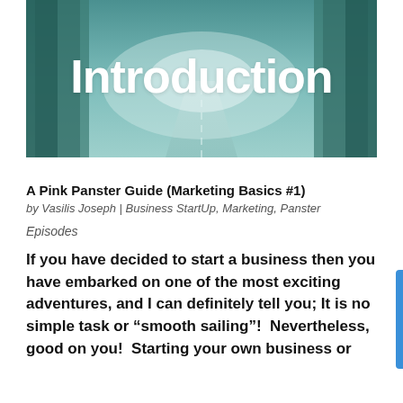[Figure (photo): A misty road flanked by tall trees with a teal/blue-green color overlay, serving as a hero banner image with the word 'Introduction' overlaid in large white bold text.]
A Pink Panster Guide (Marketing Basics #1)
by Vasilis Joseph | Business StartUp, Marketing, Panster
Episodes
If you have decided to start a business then you have embarked on one of the most exciting adventures, and I can definitely tell you; It is no simple task or “smooth sailing”!  Nevertheless, good on you!  Starting your own business or